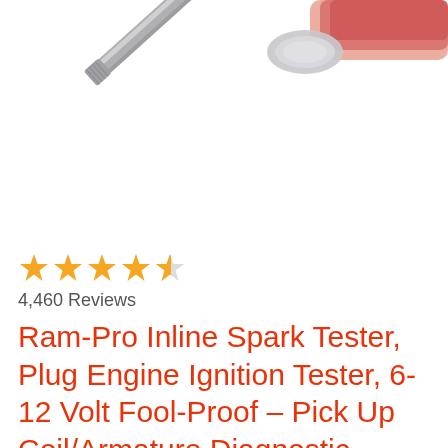[Figure (photo): Close-up photo of a spark plug tester tip — a metallic cylindrical probe with a rounded end, shown at an angle against a white background. Part of a red/transparent plastic handle is visible at the top right.]
[Figure (other): 4.5 star rating shown as gold stars (4 full stars and 1 half star)]
4,460 Reviews
Ram-Pro Inline Spark Tester, Plug Engine Ignition Tester, 6-12 Volt Fool-Proof – Pick Up Coil/Armature Diagnostic